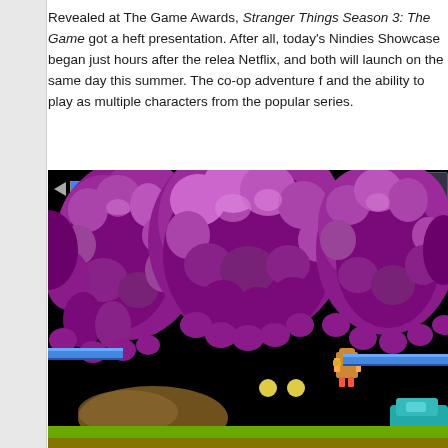Revealed at The Game Awards, Stranger Things Season 3: The Game got a heft presentation. After all, today's Nindies Showcase began just hours after the relea Netflix, and both will launch on the same day this summer. The co-op adventure f and the ability to play as multiple characters from the popular series.
[Figure (screenshot): Gameplay screenshot from Stranger Things Season 3: The Game showing a large purple blob monster boss against a black background, with HUD elements at top, blue platforms, a small character sprite, and a vehicle in the bottom right. Green and brown ground strip at bottom.]